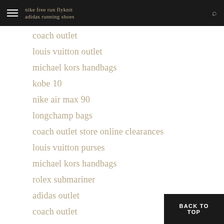nike free run flyknit / adidas running shoes
coach outlet
louis vuitton outlet
michael kors handbags
kobe 10
nike air max 90
longchamp bags
coach outlet store online clearances
louis vuitton purses
michael kors handbags
rolex submariner
adidas outlet
coach outlet
oakley sunglasses
juicy couture
BACK TO TOP